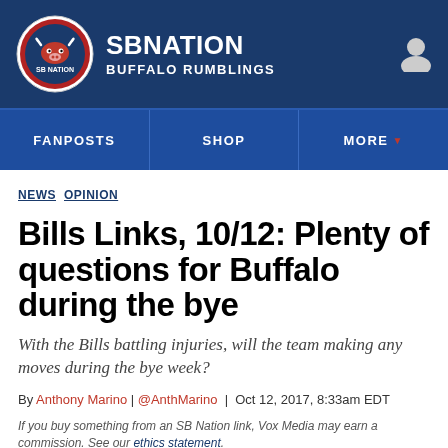SB NATION — BUFFALO RUMBLINGS
FANPOSTS | SHOP | MORE
NEWS OPINION
Bills Links, 10/12: Plenty of questions for Buffalo during the bye
With the Bills battling injuries, will the team making any moves during the bye week?
By Anthony Marino | @AnthMarino | Oct 12, 2017, 8:33am EDT
If you buy something from an SB Nation link, Vox Media may earn a commission. See our ethics statement.